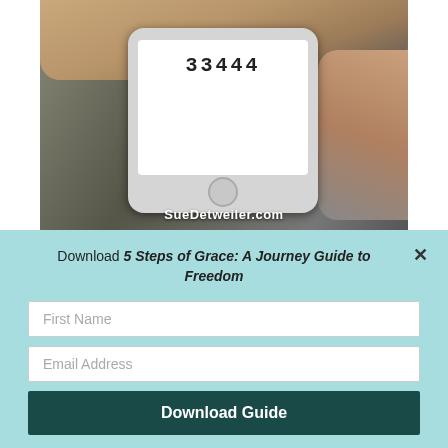[Figure (photo): A hand holding a smartphone with the number 33444 displayed on screen, with text 'SueDetweiler.com' at the bottom of the image.]
BE ENCOURAGED EVERY DAY!
To find out more about Sue Detweiler, her books and radio ministry click here.
Download 5 Steps of Grace: A Journey Guide to Freedom
First Name
Email Address
Download Guide